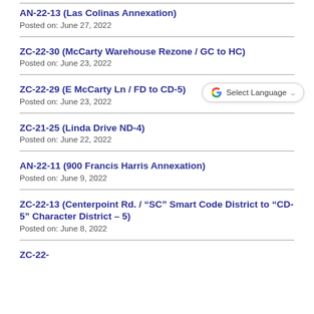AN-22-13 (Las Colinas Annexation)
Posted on: June 27, 2022
ZC-22-30 (McCarty Warehouse Rezone / GC to HC)
Posted on: June 23, 2022
ZC-22-29 (E McCarty Ln / FD to CD-5)
Posted on: June 23, 2022
ZC-21-25 (Linda Drive ND-4)
Posted on: June 22, 2022
AN-22-11 (900 Francis Harris Annexation)
Posted on: June 9, 2022
ZC-22-13 (Centerpoint Rd. / “SC” Smart Code District to “CD-5” Character District – 5)
Posted on: June 8, 2022
ZC-22-... (partial, cut off)